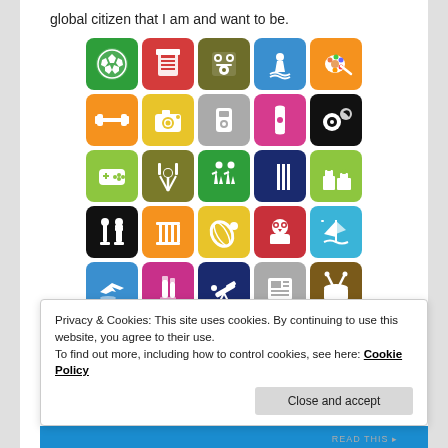global citizen that I am and want to be.
[Figure (illustration): A 5x5 grid of colorful hobby/activity icons including soccer, sewing, music, cooking, fitness, photography, gaming, chess, sailing, astronomy, drumming, and others on colored rounded-corner tiles.]
Privacy & Cookies: This site uses cookies. By continuing to use this website, you agree to their use.
To find out more, including how to control cookies, see here: Cookie Policy
Close and accept